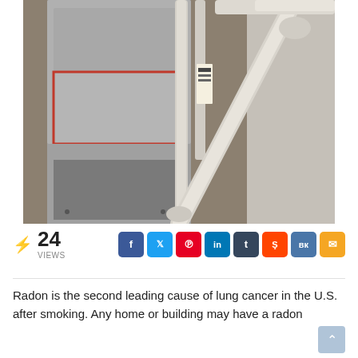[Figure (photo): Photograph of HVAC furnace equipment in a utility room with PVC pipes running diagonally across the frame. Metal ducts wrapped with foil tape and red sealant visible on the left; grey wall and pipes on the right.]
⚡ 24 VIEWS
Social sharing buttons: Facebook, Twitter, Pinterest, LinkedIn, Tumblr, Reddit, VK, Email
Radon is the second leading cause of lung cancer in the U.S. after smoking. Any home or building may have a radon